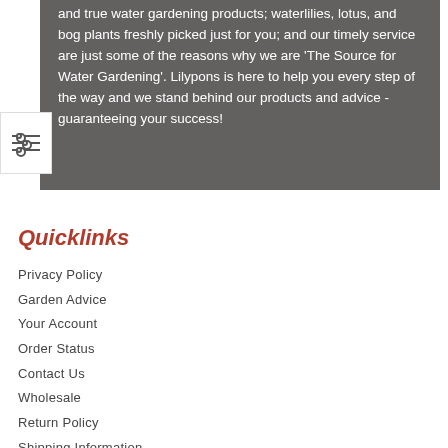and true water gardening products; waterlilies, lotus, and bog plants freshly picked just for you; and our timely service are just some of the reasons why we are 'The Source for Water Gardening'. Lilypons is here to help you every step of the way and we stand behind our products and advice - guaranteeing your success!
Quicklinks
Privacy Policy
Garden Advice
Your Account
Order Status
Contact Us
Wholesale
Return Policy
Shipping Information